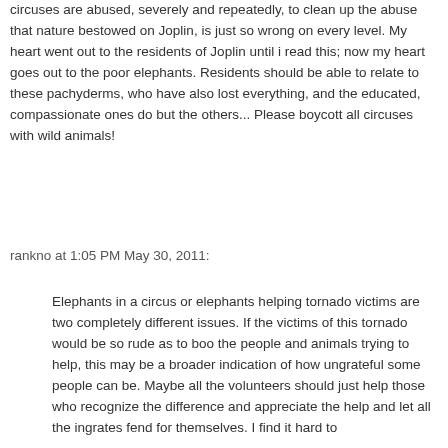circuses are abused, severely and repeatedly, to clean up the abuse that nature bestowed on Joplin, is just so wrong on every level. My heart went out to the residents of Joplin until i read this; now my heart goes out to the poor elephants. Residents should be able to relate to these pachyderms, who have also lost everything, and the educated, compassionate ones do but the others... Please boycott all circuses with wild animals!
rankno at 1:05 PM May 30, 2011:
Elephants in a circus or elephants helping tornado victims are two completely different issues. If the victims of this tornado would be so rude as to boo the people and animals trying to help, this may be a broader indication of how ungrateful some people can be. Maybe all the volunteers should just help those who recognize the difference and appreciate the help and let all the ingrates fend for themselves. I find it hard to